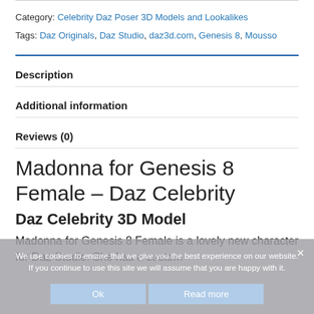Category: Celebrity Daz Poser 3D Models and Lookalikes
Tags: Daz Originals, Daz Studio, daz3d.com, Genesis 8, Mousso
Description
Additional information
Reviews (0)
Madonna for Genesis 8 Female – Daz Celebrity
Daz Celebrity 3D Model
Madonna for Genesis 8 Female is a lovely new character for Daz Studio. She has a custom